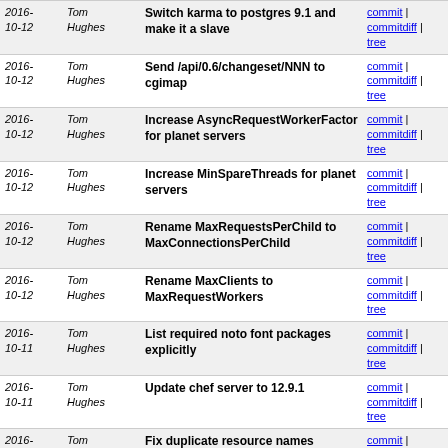| Date | Author | Message | Links |
| --- | --- | --- | --- |
| 2016-10-12 | Tom Hughes | Switch karma to postgres 9.1 and make it a slave | commit | commitdiff | tree |
| 2016-10-12 | Tom Hughes | Send /api/0.6/changeset/NNN to cgimap | commit | commitdiff | tree |
| 2016-10-12 | Tom Hughes | Increase AsyncRequestWorkerFactor for planet servers | commit | commitdiff | tree |
| 2016-10-12 | Tom Hughes | Increase MinSpareThreads for planet servers | commit | commitdiff | tree |
| 2016-10-12 | Tom Hughes | Rename MaxRequestsPerChild to MaxConnectionsPerChild | commit | commitdiff | tree |
| 2016-10-12 | Tom Hughes | Rename MaxClients to MaxRequestWorkers | commit | commitdiff | tree |
| 2016-10-11 | Tom Hughes | List required noto font packages explicitly | commit | commitdiff | tree |
| 2016-10-11 | Tom Hughes | Update chef server to 12.9.1 | commit | commitdiff | tree |
| 2016-10-10 | Tom Hughes | Fix duplicate resource names | commit | commitdiff | tree |
| 2016-10-10 | Tom Hughes | Exclude chef repo from default receive hooks | commit | commitdiff | tree |
| 2016-10-10 | Tom Hughes | Replace deprecated manage_home syntax | commit | commitdiff | tree |
| 2016-10-10 | Tom Hughes | Update chef client to 12.14.89 | commit | commitdiff | tree |
| 2016-10-09 | Tom Hughes | Override network speed to virtio interfaces | commit | commitdiff | tree |